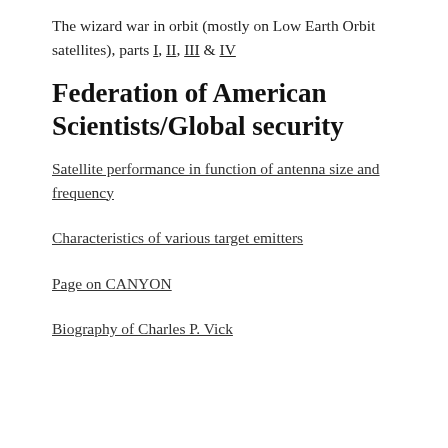The wizard war in orbit (mostly on Low Earth Orbit satellites), parts I, II, III & IV
Federation of American Scientists/Global security
Satellite performance in function of antenna size and frequency
Characteristics of various target emitters
Page on CANYON
Biography of Charles P. Vick